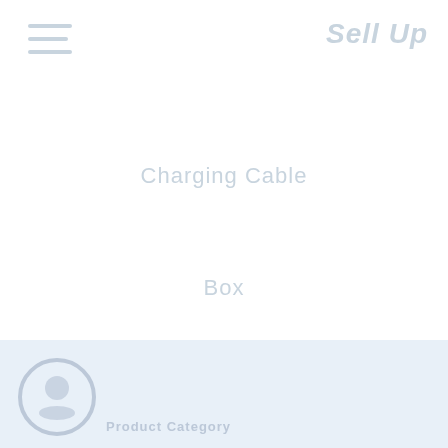[Figure (logo): Hamburger menu icon with three horizontal lines in light blue-gray color, top-left corner]
Sell Up
Charging Cable
Box
Ear Phone
RE SELECT MODEL
CALCULATE PRICE
[Figure (logo): Circular logo icon in light blue-gray at bottom left, with partial text 'Product Category' below]